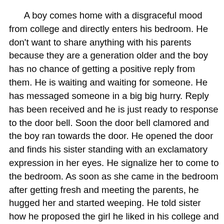A boy comes home with a disgraceful mood from college and directly enters his bedroom. He don't want to share anything with his parents because they are a generation older and the boy has no chance of getting a positive reply from them. He is waiting and waiting for someone. He has messaged someone in a big big hurry. Reply has been received and he is just ready to response to the door bell. Soon the door bell clamored and the boy ran towards the door. He opened the door and finds his sister standing with an exclamatory expression in her eyes. He signalize her to come to the bedroom. As soon as she came in the bedroom after getting fresh and meeting the parents, he hugged her and started weeping. He told sister how he proposed the girl he liked in his college and got a rejection. Sister hugged her, gave him her shoulder to cry and convinced him for a happy life by telling him how bad girls are and how bad they think and even tell him that I am a girl but still I am against these attitude of girls. Boy starts smiling and promises his sister that he will never cry for the same girl again. What if the sister would not have been present that day? Where this boy would have